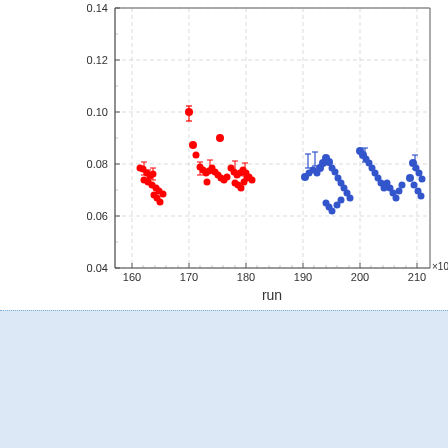[Figure (continuous-plot): Scatter plot of data points vs run number (x10^3). X-axis: run, ranging from 160 to 210 (x10^3). Y-axis: ranging from 0.04 to 0.14. Red data points cluster between runs 160-180, blue data points cluster between runs 190-210, both groups centered around y~0.075-0.08 with some scatter and error bars.]